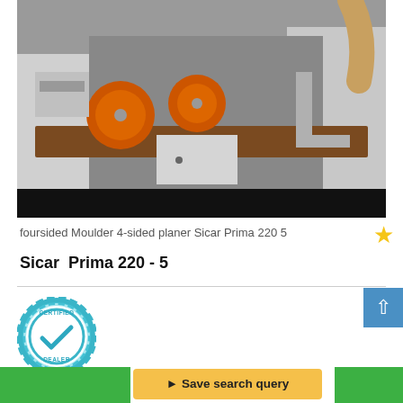[Figure (photo): Industrial foursided moulder/4-sided planer machine (Sicar Prima 220 5) showing internal rollers and components, with orange rollers visible, white metal housing, and a black bar at the bottom of the image.]
foursided Moulder 4-sided planer Sicar Prima 220 5
Sicar  Prima 220 - 5
[Figure (logo): Certified Dealer badge — circular gear-shaped badge in teal/blue with a checkmark in the center and text reading CERTIFIED at the top and DEALER at the bottom.]
Save search query